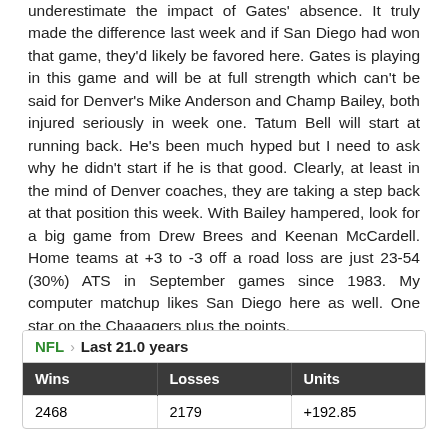underestimate the impact of Gates' absence. It truly made the difference last week and if San Diego had won that game, they'd likely be favored here. Gates is playing in this game and will be at full strength which can't be said for Denver's Mike Anderson and Champ Bailey, both injured seriously in week one. Tatum Bell will start at running back. He's been much hyped but I need to ask why he didn't start if he is that good. Clearly, at least in the mind of Denver coaches, they are taking a step back at that position this week. With Bailey hampered, look for a big game from Drew Brees and Keenan McCardell. Home teams at +3 to -3 off a road loss are just 23-54 (30%) ATS in September games since 1983. My computer matchup likes San Diego here as well. One star on the Chaaagers plus the points.
| Wins | Losses | Units |
| --- | --- | --- |
| 2468 | 2179 | +192.85 |